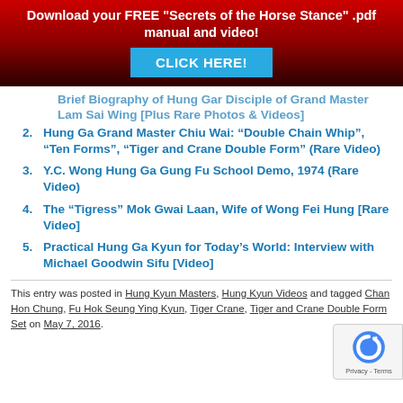Download your FREE "Secrets of the Horse Stance" .pdf manual and video! CLICK HERE!
Brief Biography of Hung Gar Disciple of Grand Master Lam Sai Wing [Plus Rare Photos & Videos]
Hung Ga Grand Master Chiu Wai: “Double Chain Whip”, “Ten Forms”, “Tiger and Crane Double Form” (Rare Video)
Y.C. Wong Hung Ga Gung Fu School Demo, 1974 (Rare Video)
The “Tigress” Mok Gwai Laan, Wife of Wong Fei Hung [Rare Video]
Practical Hung Ga Kyun for Today’s World: Interview with Michael Goodwin Sifu [Video]
This entry was posted in Hung Kyun Masters, Hung Kyun Videos and tagged Chan Hon Chung, Fu Hok Seung Ying Kyun, Tiger Crane, Tiger and Crane Double Form Set on May 7, 2016.